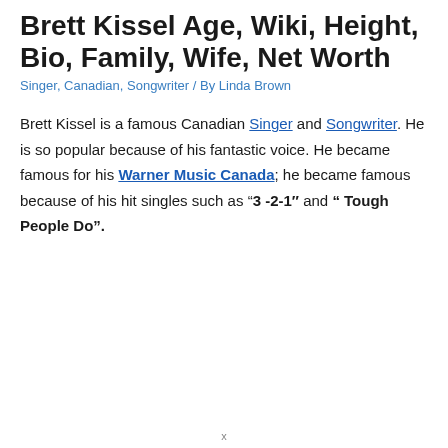Brett Kissel Age, Wiki, Height, Bio, Family, Wife, Net Worth
Singer, Canadian, Songwriter / By Linda Brown
Brett Kissel is a famous Canadian Singer and Songwriter. He is so popular because of his fantastic voice. He became famous for his Warner Music Canada; he became famous because of his hit singles such as “3 -2-1″ and “ Tough People Do”.